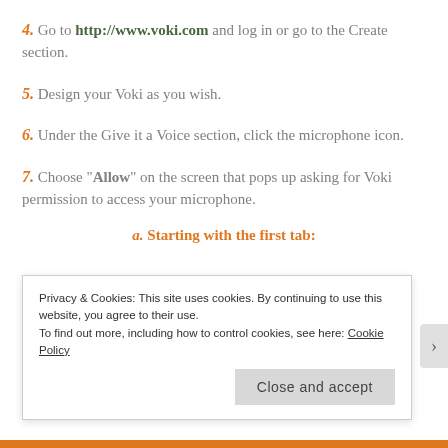4. Go to http://www.voki.com and log in or go to the Create section.
5. Design your Voki as you wish.
6. Under the Give it a Voice section, click the microphone icon.
7. Choose "Allow" on the screen that pops up asking for Voki permission to access your microphone.
a. Starting with the first tab:
Privacy & Cookies: This site uses cookies. By continuing to use this website, you agree to their use. To find out more, including how to control cookies, see here: Cookie Policy